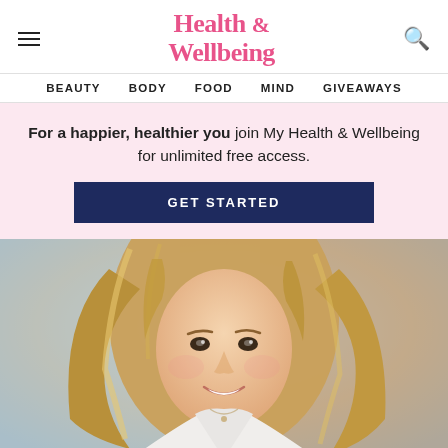Health & Wellbeing
BEAUTY BODY FOOD MIND GIVEAWAYS
For a happier, healthier you join My Health & Wellbeing for unlimited free access.
GET STARTED
[Figure (photo): Smiling woman with long wavy blonde hair wearing a white shirt, photographed outdoors with a blurred natural background]